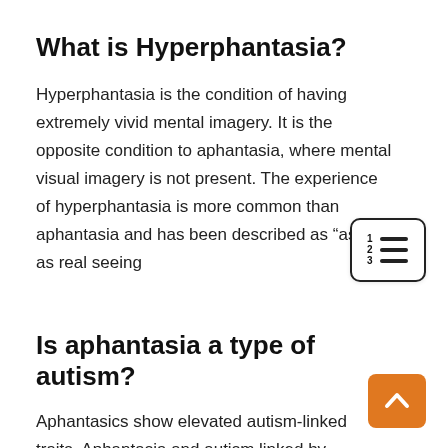What is Hyperphantasia?
Hyperphantasia is the condition of having extremely vivid mental imagery. It is the opposite condition to aphantasia, where mental visual imagery is not present. The experience of hyperphantasia is more common than aphantasia and has been described as “as vivid as real seeing
[Figure (other): Table of contents icon: numbered list icon with lines, inside a rounded rectangle border]
Is aphantasia a type of autism?
Aphantasics show elevated autism-linked traits. Aphantasia and autism linked by impaired imagination and social skills. Aphantasia (low
[Figure (other): Orange rounded rectangle button with a white upward-pointing chevron arrow, scroll-to-top button]